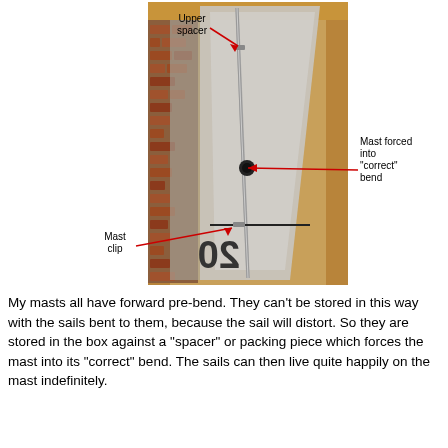[Figure (photo): Photo of a mast stored in a long wooden box, forced into a 'correct' bend by an upper spacer and a mast clip. Red arrows label 'Upper spacer', 'Mast forced into "correct" bend', and 'Mast clip'. The mast is a thin metal rod visible against a sail inside a triangular wooden storage box leaning against a brick wall.]
My masts all have forward pre-bend.  They can't be stored in this way with the sails bent to them, because the sail will distort.  So they are stored in the box against a "spacer" or packing piece which forces the mast into its "correct" bend.  The sails can then live quite happily on the mast indefinitely.